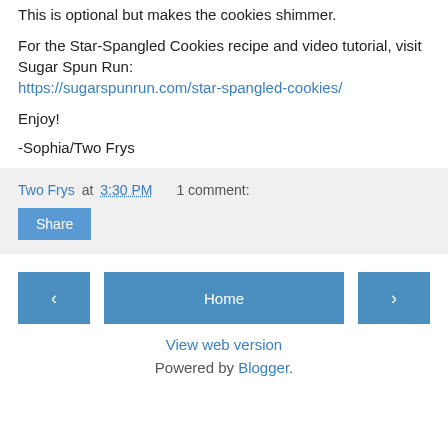This is optional but makes the cookies shimmer.
For the Star-Spangled Cookies recipe and video tutorial, visit Sugar Spun Run: https://sugarspunrun.com/star-spangled-cookies/
Enjoy!
-Sophia/Two Frys
Two Frys at 3:30 PM   1 comment:
Share
Home
View web version
Powered by Blogger.